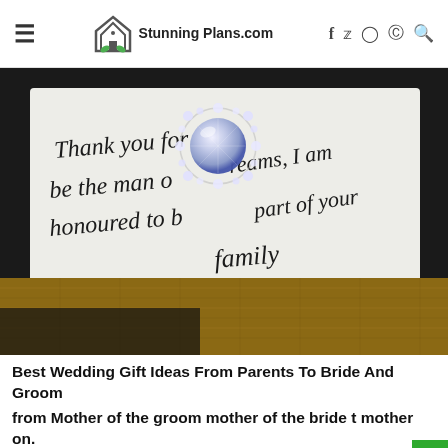StunningPlans.com
[Figure (photo): A photo of a white gift box with cursive handwritten text reading 'Thank you for being my dreams, I am honoured to be part of your family' with a diamond/crystal brooch or ring placed on top of the paper, sitting on a gold/bronze textured surface.]
Best Wedding Gift Ideas From Parents To Bride And Groom
from Mother of the groom mother of the bride t mother on.
Source Image: www.pinterest.com. Visit this site for details